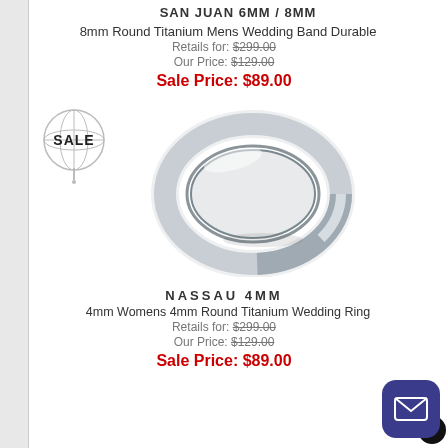SAN JUAN 6MM / 8MM
8mm Round Titanium Mens Wedding Band Durable
Retails for: $299.00
Our Price: $129.00
Sale Price: $89.00
[Figure (photo): Silver titanium wedding ring band shown at an angle on white background, with a SALE globe badge on the left]
NASSAU 4MM
4mm Womens 4mm Round Titanium Wedding Ring
Retails for: $299.00
Our Price: $129.00
Sale Price: $89.00